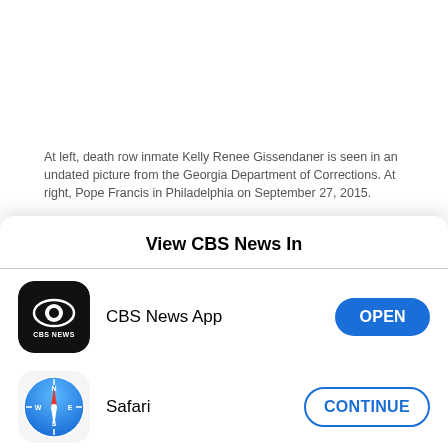At left, death row inmate Kelly Renee Gissendaner is seen in an undated picture from the Georgia Department of Corrections. At right, Pope Francis in Philadelphia on September 27, 2015.
REUTERS/CBS NEWS COMPOSITE IMAGE
Gissendaner's supporters on Sept. 19 released an emotional video featuring two of her children
View CBS News In
[Figure (logo): CBS News App icon — black rounded square with CBS eye logo and CBS NEWS text]
CBS News App
[Figure (logo): Safari browser icon — blue compass with red needle on white rounded square]
Safari